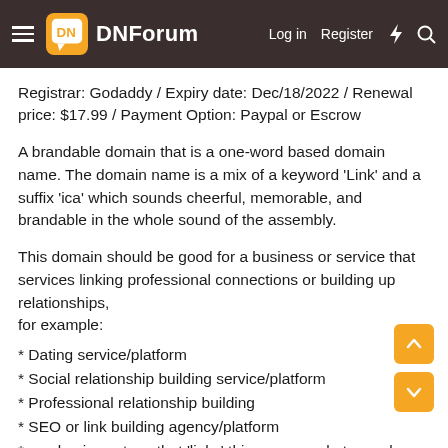DNForum — Log in  Register
Registrar: Godaddy / Expiry date: Dec/18/2022 / Renewal price: $17.99 / Payment Option: Paypal or Escrow
A brandable domain that is a one-word based domain name. The domain name is a mix of a keyword 'Link' and a suffix 'ica' which sounds cheerful, memorable, and brandable in the whole sound of the assembly.
This domain should be good for a business or service that services linking professional connections or building up relationships,
for example:
* Dating service/platform
* Social relationship building service/platform
* Professional relationship building
* SEO or link building agency/platform
* any business type that 'links' things or people to a value